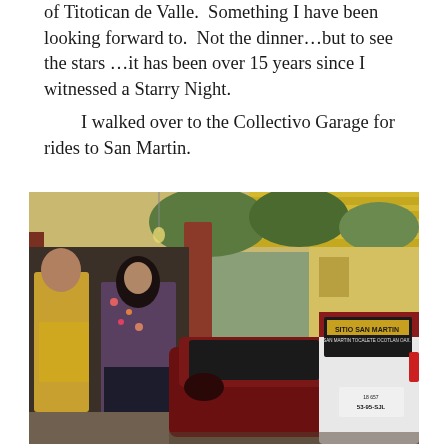of Titotican de Valle.  Something I have been looking forward to.  Not the dinner...but to see the stars ...it has been over 15 years since I witnessed a Starry Night.
    I walked over to the Collectivo Garage for rides to San Martin.
[Figure (photo): A photo inside a Collectivo Garage showing a woman in a floral shirt standing near a dark red car, a man in yellow shirt to the left, red pillars, yellow roofing structure, and a white taxi car on the right with 'SITIO SAN MARTIN' and 'SAN MARTIN TOCALETE OCOTLAN OAX.' text on its rear window. License plate area visible with number 53-95-SJL.]